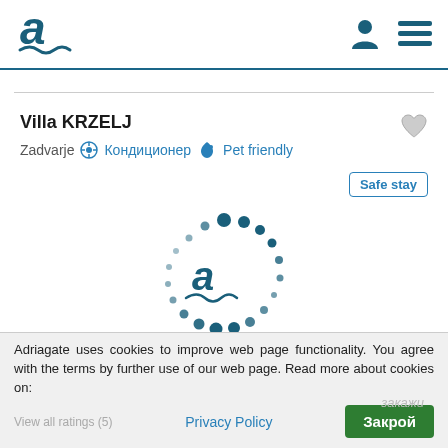[Figure (logo): Adriagate logo — stylized letter 'a' with wave underline in dark teal]
[Figure (illustration): Loading spinner made of dark teal dots arranged in a circle around the Adriagate logo]
Villa KRZELJ
Zadvarje ⚙ Кондиционер 🐾 Pet friendly
Safe stay
1 / 3
Adriagate uses cookies to improve web page functionality. You agree with the terms by further use of our web page. Read more about cookies on:
View all ratings (5)
Privacy Policy
Закрой